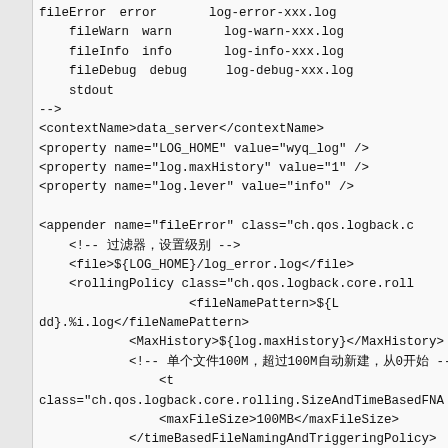fileError  error       log-error-xxx.log
    fileWarn  warn       log-warn-xxx.log
    fileInfo  info       log-info-xxx.log
    fileDebug  debug     log-debug-xxx.log
    stdout（标准输出）
-->
<contextName>data_server</contextName>
<property name="LOG_HOME" value="wyq_log" />
<property name="log.maxHistory" value="1" />
<property name="log.lever" value="info" />

<appender name="fileError" class="ch.qos.logback.c
    <!-- 过滤器，设置级别 -->
    <file>${LOG_HOME}/log_error.log</file>
    <rollingPolicy class="ch.qos.logback.core.roll
                    <fileNamePattern>${L
dd}.%i.log</fileNamePattern>
            <MaxHistory>${log.maxHistory}</MaxHistory>
            <!-- 单个文件100M，超过100M自动新建，从0开始 -->
                <t
class="ch.qos.logback.core.rolling.SizeAndTimeBasedFNA
                <maxFileSize>100MB</maxFileSize>
            </timeBasedFileNamingAndTriggeringPolicy>
        </rollingPolicy>
        <!-- 日志格式 -->